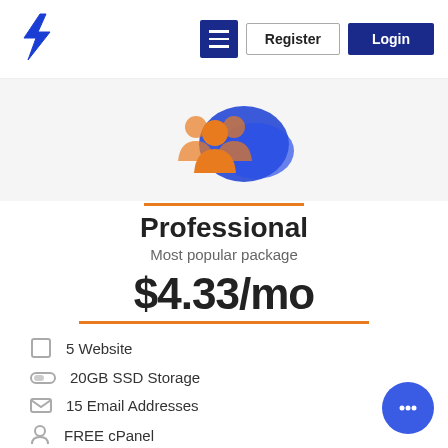[Figure (logo): Blue stylized lightning bolt logo]
Register
Login
[Figure (illustration): Orange and blue group of people / team hosting icon with server stack]
Professional
Most popular package
$4.33/mo
5 Website
20GB SSD Storage
15 Email Addresses
FREE cPanel
FREE & Auto SSL